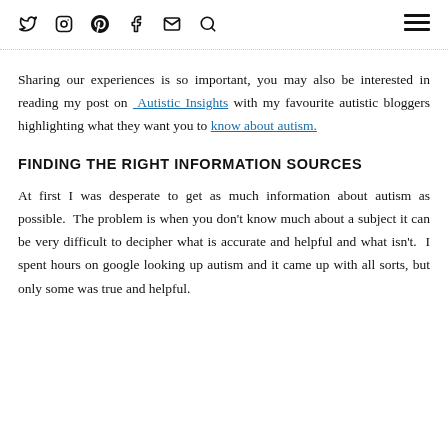social media icons: twitter, instagram, pinterest, facebook, email, search; hamburger menu
Sharing our experiences is so important, you may also be interested in reading my post on Autistic Insights with my favourite autistic bloggers highlighting what they want you to know about autism.
FINDING THE RIGHT INFORMATION SOURCES
At first I was desperate to get as much information about autism as possible.  The problem is when you don't know much about a subject it can be very difficult to decipher what is accurate and helpful and what isn't.  I spent hours on google looking up autism and it came up with all sorts, but only some was true and helpful.